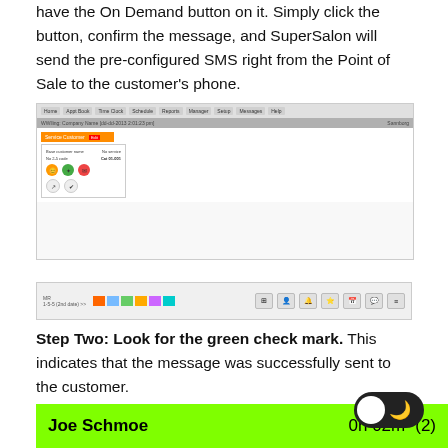have the On Demand button on it. Simply click the button, confirm the message, and SuperSalon will send the pre-configured SMS right from the Point of Sale to the customer's phone.
[Figure (screenshot): SuperSalon POS software screenshot showing the On Demand SMS customer panel with orange header and icon buttons]
[Figure (screenshot): SuperSalon POS software scheduler view showing color-coded staff bars and action icon buttons on the right]
Step Two: Look for the green check mark. This indicates that the message was successfully sent to the customer.
[Figure (screenshot): Green bar showing customer name 'Joe Schmoe', time '0h 02m', and number '(2)' indicating successful SMS send]